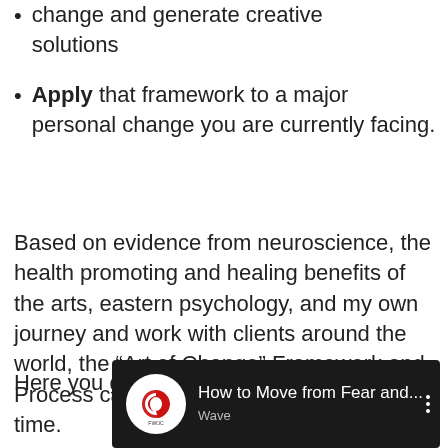change and generate creative solutions
Apply that framework to a major personal change you are currently facing.
Based on evidence from neuroscience, the health promoting and healing benefits of the arts, eastern psychology, and my own journey and work with clients around the world, the “Art of Change” Framework and Process can be your lifesaver during this time.
Here you go!
[Figure (screenshot): Video thumbnail showing FWOC logo and title 'How to Move from Fear and...' with 'Wave' subtitle text on dark background]